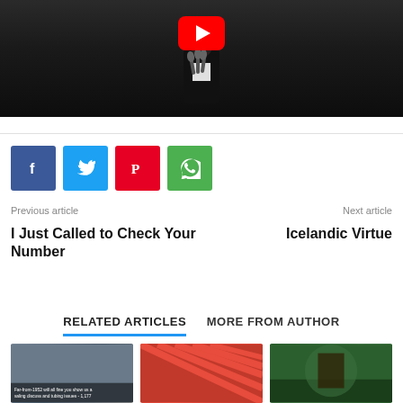[Figure (screenshot): YouTube video thumbnail showing a person in dark suit at a podium with microphones, with a red YouTube play button icon at top center, dark/night background]
[Figure (infographic): Social sharing buttons row: Facebook (blue, f icon), Twitter (light blue, bird icon), Pinterest (red, P icon), WhatsApp (green, phone icon)]
Previous article
I Just Called to Check Your Number
Next article
Icelandic Virtue
RELATED ARTICLES  MORE FROM AUTHOR
[Figure (photo): Three article thumbnail images in a row at the bottom of the page]
Far-from-1952 will all fine you show us a saling discuss and tubing issues - 1,177